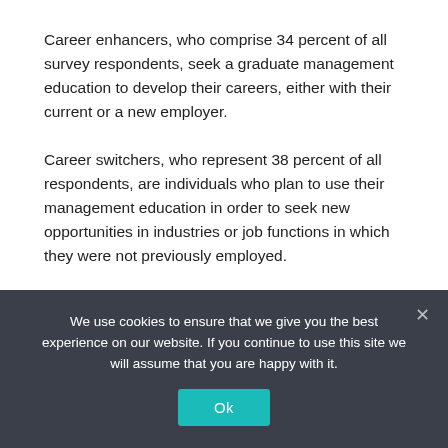Career enhancers, who comprise 34 percent of all survey respondents, seek a graduate management education to develop their careers, either with their current or a new employer.
Career switchers, who represent 38 percent of all respondents, are individuals who plan to use their management education in order to seek new opportunities in industries or job functions in which they were not previously employed.
To download the report, visit gmac.com/prospectivestudents.
We use cookies to ensure that we give you the best experience on our website. If you continue to use this site we will assume that you are happy with it.